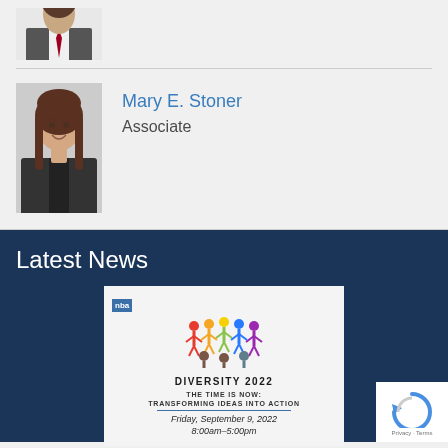[Figure (photo): Partial photo of a man in a suit with red tie, cropped at top]
[Figure (photo): Professional headshot of Mary E. Stoner, a woman with long brown hair wearing a dark blazer, smiling]
Mary E. Stoner
Associate
Latest News
[Figure (infographic): NBA Diversity 2022 event flyer: 'THE TIME IS NOW: TRANSFORMING IDEAS INTO ACTION' Friday, September 9, 2022, 8:00am-5:00pm, with colorful diversity figures graphic]
[Figure (logo): reCAPTCHA badge with Privacy and Terms links]